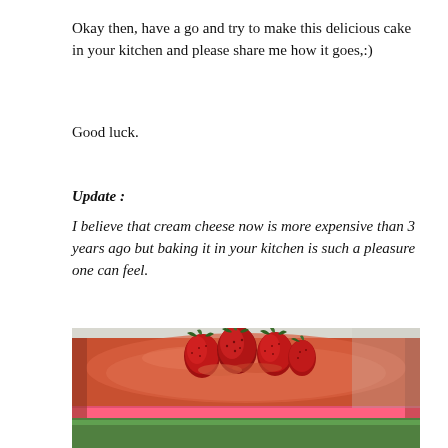Okay then, have a go and try to make this delicious cake in your kitchen and please share me how it goes,:)
Good luck.
Update :
I believe that cream cheese now is more expensive than 3 years ago but baking it in your kitchen is such a pleasure one can feel.
[Figure (photo): A strawberry cheesecake topped with glazed strawberries on a orange-red gelatinous surface, with a pink and green bottom layer visible, photographed from slightly above.]